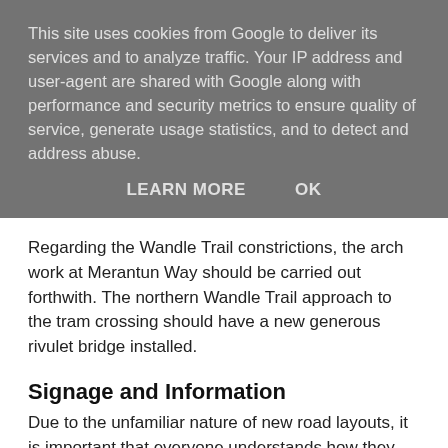This site uses cookies from Google to deliver its services and to analyze traffic. Your IP address and user-agent are shared with Google along with performance and security metrics to ensure quality of service, generate usage statistics, and to detect and address abuse.
LEARN MORE    OK
Regarding the Wandle Trail constrictions, the arch work at Merantun Way should be carried out forthwith. The northern Wandle Trail approach to the tram crossing should have a new generous rivulet bridge installed.
Signage and Information
Due to the unfamiliar nature of new road layouts, it is important that everyone understands how they work. Pedestrians and cyclists need to be aware of how to stay safe in the new environment, and drivers need to know what to expect and how layouts work.
New cyclists will need information on where to get advice and more about the range of bikes available for different